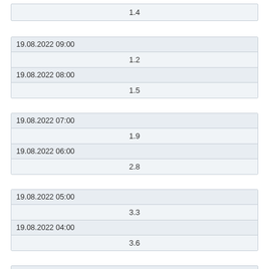| 1.4 |
| 19.08.2022 09:00 |
| 1.2 |
| 19.08.2022 08:00 |
| 1.5 |
| 19.08.2022 07:00 |
| 1.9 |
| 19.08.2022 06:00 |
| 2.8 |
| 19.08.2022 05:00 |
| 3.3 |
| 19.08.2022 04:00 |
| 3.6 |
| 19.08.2022 03:00 |
| 2.6 |